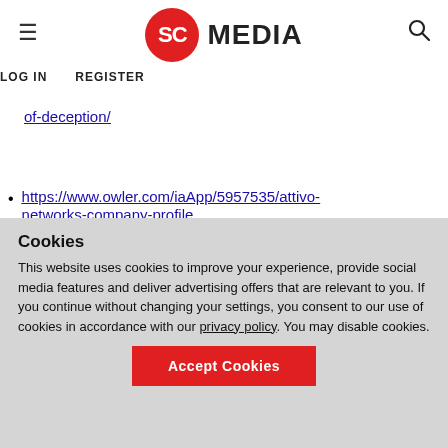SC MEDIA | LOG IN  REGISTER
of-deception/
https://www.owler.com/iaApp/5957535/attivo-networks-company-profile
“Attivo is a deception-based threat detection and
Cookies
This website uses cookies to improve your experience, provide social media features and deliver advertising offers that are relevant to you. If you continue without changing your settings, you consent to our use of cookies in accordance with our privacy policy. You may disable cookies.
Accept Cookies